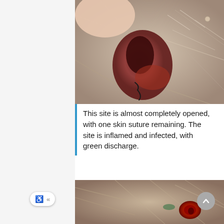[Figure (photo): Close-up photograph of an animal (dog/cat) wound site near the ear showing opened surgical site with one skin suture remaining, inflammation, and infection with discharge.]
This site is almost completely opened, with one skin suture remaining. The site is inflamed and infected, with green discharge.
[Figure (photo): Close-up photograph of an animal wound site showing a red, open wound surrounded by fur.]